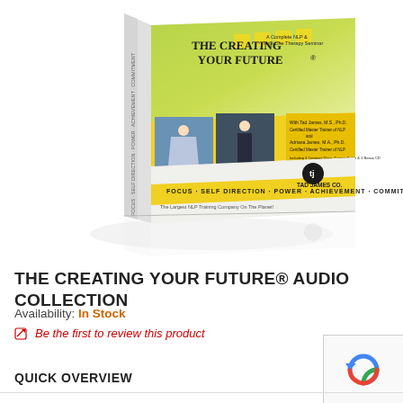[Figure (photo): Product image of 'The Creating Your Future® Audio Collection' book/box set by Tad James Co. The cover features a green and yellow design with the title 'The Creating Your Future' in bold black text, images of people (a woman with arms spread, a man in business attire), credits to Tad James M.S. Ph.D. and Adriana James M.A. Ph.D. as Certified Master Trainers of NLP, and the tagline 'FOCUS · SELF DIRECTION · POWER · ACHIEVEMENT · COMMITMENT'. The Tad James Co. logo appears on the front.]
THE CREATING YOUR FUTURE® AUDIO COLLECTION
Availability: In Stock
Be the first to review this product
QUICK OVERVIEW